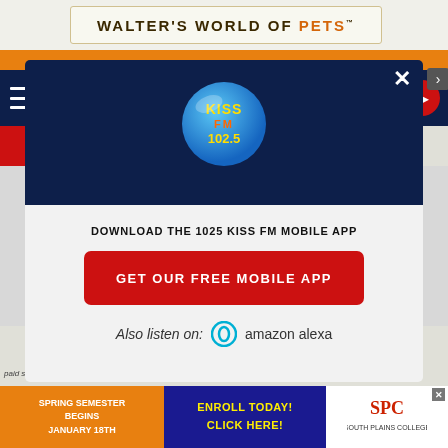[Figure (screenshot): Website background showing Walter's World of Pets banner, orange navigation bar, and dark navy navigation area behind a modal popup]
[Figure (screenshot): Modal popup with dark navy top section showing KISS FM 102.5 logo, white/light gray bottom section with download prompt, red GET OUR FREE MOBILE APP button, and Amazon Alexa listen option]
DOWNLOAD THE 1025 KISS FM MOBILE APP
GET OUR FREE MOBILE APP
Also listen on: amazon alexa
paid subscription, but Lady Gaga shared a 30-second teaser
[Figure (screenshot): South Plains College advertisement banner: Spring Semester Begins January 18th - Enroll Today Click Here!]